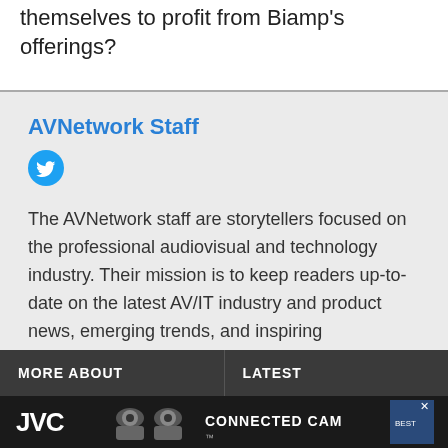themselves to profit from Biamp's offerings?
AVNetwork Staff
[Figure (logo): Twitter bird icon, blue circle with white bird silhouette]
The AVNetwork staff are storytellers focused on the professional audiovisual and technology industry. Their mission is to keep readers up-to-date on the latest AV/IT industry and product news, emerging trends, and inspiring installations.
MORE ABOUT
LATEST
[Figure (photo): JVC Connected Cam advertisement banner with cameras]